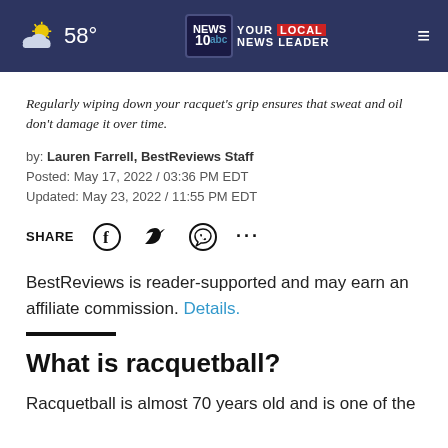58° NEWS10 YOUR LOCAL NEWS LEADER
Regularly wiping down your racquet's grip ensures that sweat and oil don't damage it over time.
by: Lauren Farrell, BestReviews Staff
Posted: May 17, 2022 / 03:36 PM EDT
Updated: May 23, 2022 / 11:55 PM EDT
SHARE [Facebook] [Twitter] [WhatsApp] [...]
BestReviews is reader-supported and may earn an affiliate commission. Details.
What is racquetball?
Racquetball is almost 70 years old and is one of the